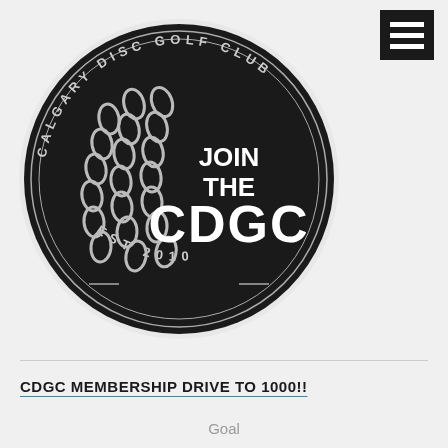[Figure (logo): Calgary Disc Golf Club circular logo on black background. Features chain links design on the left side and text 'JOIN THE CDGC' in the center. Around the edge reads 'CALGARY DISC GOLF CLUB' at top and 'EST 2010' at bottom.]
CDGC MEMBERSHIP DRIVE TO 1000!!
Goal